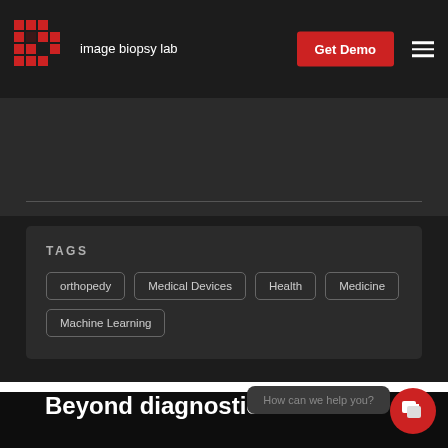[Figure (logo): Image Biopsy Lab logo with red pixel grid icon and white text 'image biopsy lab']
Get Demo
TAGS
orthopedy
Medical Devices
Health
Medicine
Machine Learning
Beyond diagnostics
How can we help you?